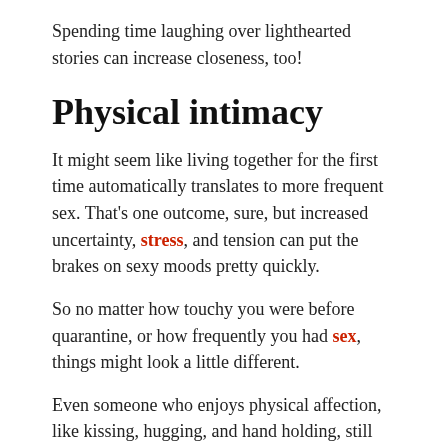Spending time laughing over lighthearted stories can increase closeness, too!
Physical intimacy
It might seem like living together for the first time automatically translates to more frequent sex. That’s one outcome, sure, but increased uncertainty, stress, and tension can put the brakes on sexy moods pretty quickly.
So no matter how touchy you were before quarantine, or how frequently you had sex, things might look a little different.
Even someone who enjoys physical affection, like kissing, hugging, and hand holding, still probably